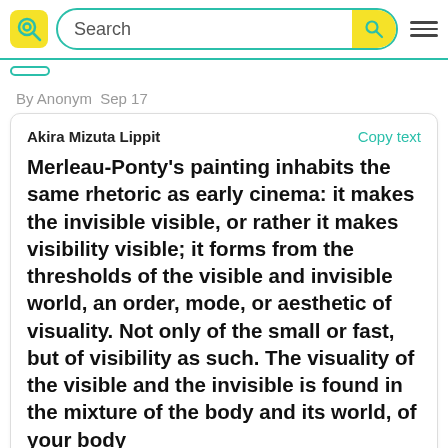Search
By Anonym  Sep 17
Akira Mizuta Lippit
Copy text
Merleau-Ponty's painting inhabits the same rhetoric as early cinema: it makes the invisible visible, or rather it makes visibility visible; it forms from the thresholds of the visible and invisible world, an order, mode, or aesthetic of visuality. Not only of the small or fast, but of visibility as such. The visuality of the visible and the invisible is found in the mixture of the body and its world, of your body